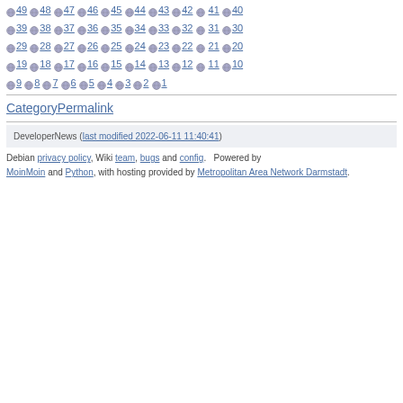49 48 47 46 45 44 43 42 41 40
39 38 37 36 35 34 33 32 31 30
29 28 27 26 25 24 23 22 21 20
19 18 17 16 15 14 13 12 11 10
9 8 7 6 5 4 3 2 1
CategoryPermalink
DeveloperNews (last modified 2022-06-11 11:40:41)
Debian privacy policy, Wiki team, bugs and config. Powered by MoinMoin and Python, with hosting provided by Metropolitan Area Network Darmstadt.